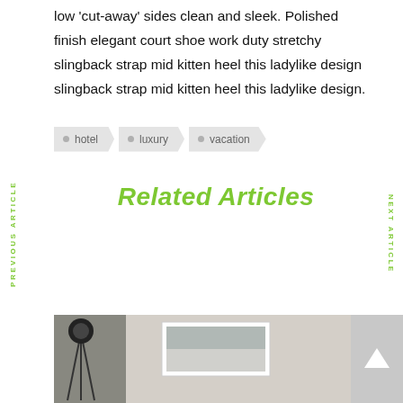low 'cut-away' sides clean and sleek. Polished finish elegant court shoe work duty stretchy slingback strap mid kitten heel this ladylike design slingback strap mid kitten heel this ladylike design.
hotel
luxury
vacation
Related Articles
[Figure (photo): Photo strip showing interior scene with camera/tripod and framed artwork on wall]
PREVIOUS ARTICLE
NEXT ARTICLE